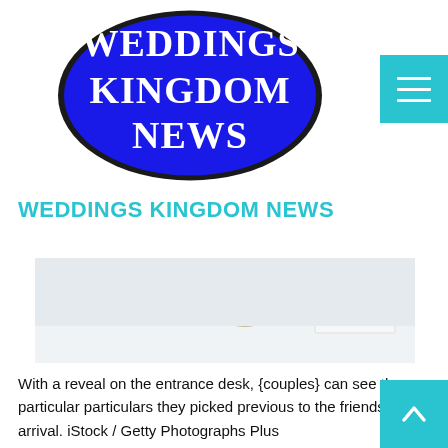[Figure (logo): Weddings Kingdom News logo — white text on dark blue oval shape]
WEDDINGS KINGDOM NEWS
[Figure (photo): Wedding entrance desk with white floral arrangement and card/stationery items on white tablecloth]
With a reveal on the entrance desk, {couples} can see the particular particulars they picked previous to the friends arrival. iStock / Getty Photographs Plus